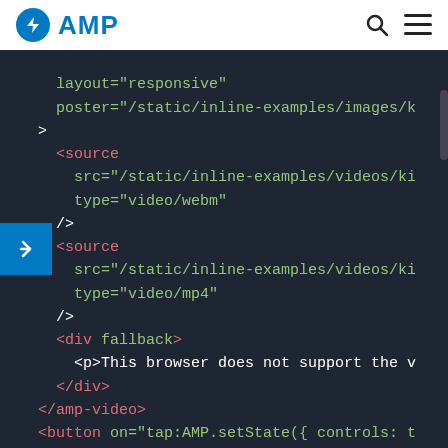AMP
[Figure (screenshot): Code editor screenshot showing AMP HTML markup with source elements for video/webm and video/mp4, fallback div, and button elements with tap:AMP.setState actions for Controls and No Controls.]